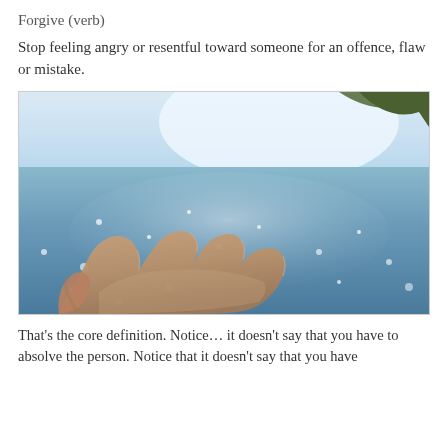Forgive (verb)
Stop feeling angry or resentful toward someone for an offence, flaw or mistake.
[Figure (photo): A human hand outstretched palm-up over a sparkling blue ocean or sea, with a rocky coastline visible in the upper right background and a bright sky above.]
That's the core definition. Notice… it doesn't say that you have to absolve the person. Notice that it doesn't say that you have